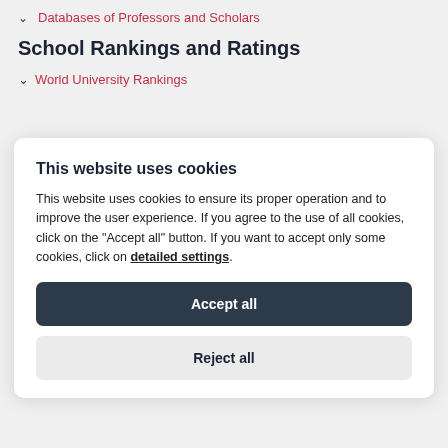Databases of Professors and Scholars
School Rankings and Ratings
World University Rankings
This website uses cookies
This website uses cookies to ensure its proper operation and to improve the user experience. If you agree to the use of all cookies, click on the "Accept all" button. If you want to accept only some cookies, click on detailed settings.
Accept all
Reject all